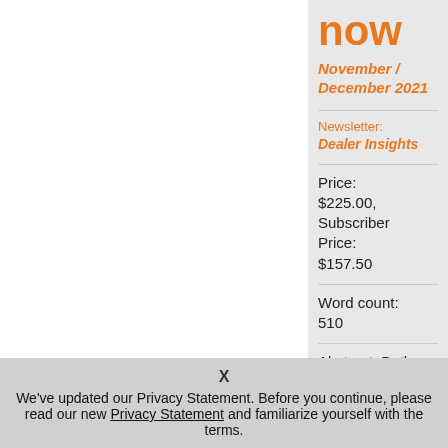now
November / December 2021
Newsletter: Dealer Insights
Price: $225.00, Subscriber Price: $157.50
Word count: 510
Abstract: Both new and used car prices
X
We've updated our Privacy Statement. Before you continue, please read our new Privacy Statement and familiarize yourself with the terms.